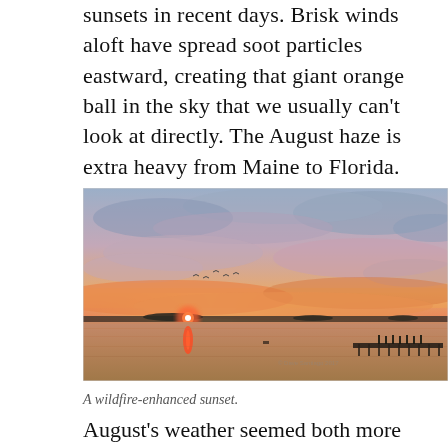sunsets in recent days. Brisk winds aloft have spread soot particles eastward, creating that giant orange ball in the sky that we usually can't look at directly. The August haze is extra heavy from Maine to Florida.
[Figure (photo): A wildfire-enhanced sunset over calm water, showing vivid orange, pink, and purple hues in the sky, with a dock and silhouetted figures visible on the right, and a small glowing sun near the horizon.]
A wildfire-enhanced sunset.
August's weather seemed both more